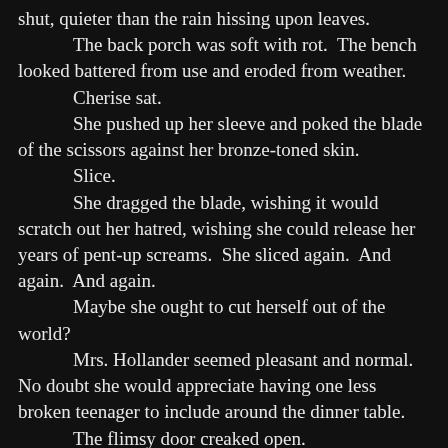shut, quieter than the rain hissing upon leaves.
	The back porch was soft with rot.  The bench looked battered from use and eroded from weather.
	Cherise sat.
	She pushed up her sleeve and poked the blade of the scissors against her bronze-toned skin.
	Slice.
	She dragged the blade, wishing it would scratch out her hatred, wishing she could release her years of pent-up screams.  She sliced again.  And again.  And again.
	Maybe she ought to cut herself out of the world?
	Mrs. Hollander seemed pleasant and normal.  No doubt she would appreciate having one less broken teenager to include around the dinner table.
	The flimsy door creaked open.
	Cherise froze, ready to hide her scissors or else stab someone.  She waited to see who had dared to follow her into